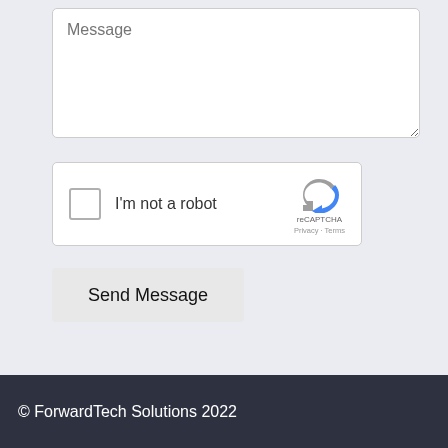[Figure (screenshot): Message textarea input field with placeholder text 'Message' and resize handle in bottom-right corner]
[Figure (screenshot): reCAPTCHA widget with checkbox labeled 'I'm not a robot', reCAPTCHA logo and icon, Privacy and Terms links]
[Figure (screenshot): Send Message button, light gray background]
© ForwardTech Solutions 2022